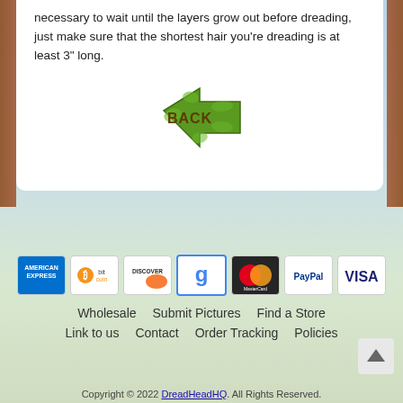necessary to wait until the layers grow out before dreading, just make sure that the shortest hair you're dreading is at least 3" long.
[Figure (illustration): A green leafy 'BACK' button shaped like a directional arrow pointing left, made of leaves and foliage.]
[Figure (other): Payment method icons row: American Express, Bitcoin, Discover, Google, MasterCard, PayPal, Visa]
Wholesale   Submit Pictures   Find a Store
Link to us   Contact   Order Tracking   Policies
Copyright © 2022 DreadHeadHQ. All Rights Reserved.